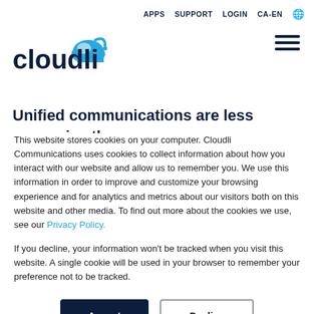APPS  SUPPORT  LOGIN  CA-EN  🌐
[Figure (logo): Cloudli logo with cloud icon and dark blue wordmark]
Unified communications are less expensive than a traditional wired system. Numerous factors make this
This website stores cookies on your computer. Cloudli Communications uses cookies to collect information about how you interact with our website and allow us to remember you. We use this information in order to improve and customize your browsing experience and for analytics and metrics about our visitors both on this website and other media. To find out more about the cookies we use, see our Privacy Policy.
If you decline, your information won't be tracked when you visit this website. A single cookie will be used in your browser to remember your preference not to be tracked.
Accept   Decline